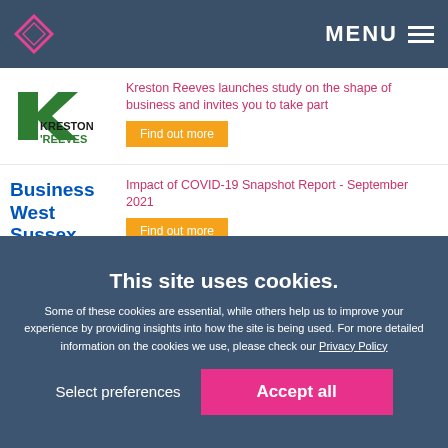MENU
[Figure (logo): Kreston Reeves logo with green K and arrow shapes]
Kreston Reeves launches study on the shape of business and invites you to take part
Find out more
[Figure (logo): Business West Sussex logo in blue bold text]
Impact of COVID-19 Snapshot Report - September 2021
Find out more
[Figure (photo): Partial photo strip showing building and person]
Railway colleagues recognised in national public art
This site uses cookies.
Some of these cookies are essential, while others help us to improve your experience by providing insights into how the site is being used. For more detailed information on the cookies we use, please check our Privacy Policy
Select preferences
Accept all